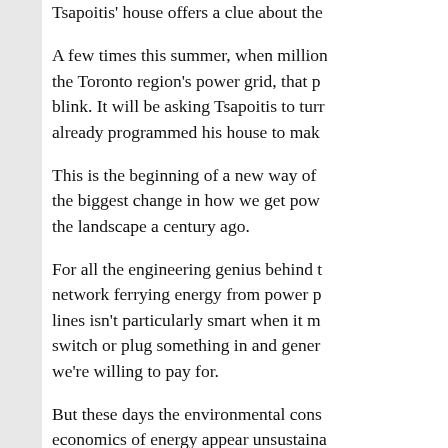Tsapoitis' house offers a clue about the
A few times this summer, when million the Toronto region's power grid, that p blink. It will be asking Tsapoitis to turr already programmed his house to make
This is the beginning of a new way of the biggest change in how we get pow the landscape a century ago.
For all the engineering genius behind t network ferrying energy from power p lines isn't particularly smart when it m switch or plug something in and gener we're willing to pay for.
But these days the environmental cons economics of energy appear unsustaina providers and technology companies a smarter.
It will stop being merely a passive sup companies will be able to cue us, like t Tsapoitis' house, to make choices abou